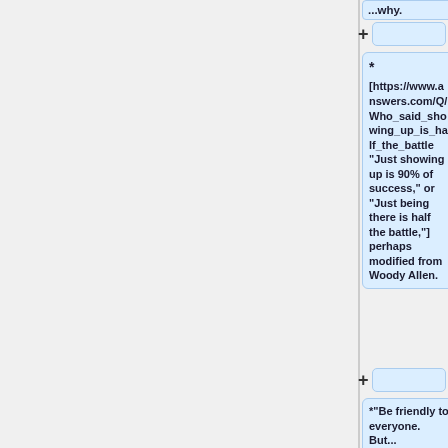...why.
+
* [https://www.answers.com/Q/Who_said_showing_up_is_half_the_battle "Just showing up is 90% of success," or "Just being there is half the battle,"] perhaps modified from Woody Allen.
+
*"Be friendly to everyone. But...